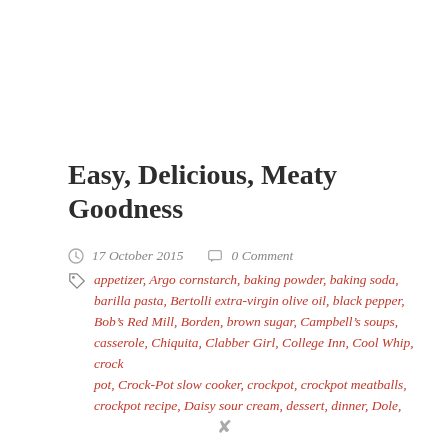Easy, Delicious, Meaty Goodness
17 October 2015   0 Comment
appetizer, Argo cornstarch, baking powder, baking soda, barilla pasta, Bertolli extra-virgin olive oil, black pepper, Bob's Red Mill, Borden, brown sugar, Campbell's soups, casserole, Chiquita, Clabber Girl, College Inn, Cool Whip, crock pot, Crock-Pot slow cooker, crockpot, crockpot meatballs, crockpot recipe, Daisy sour cream, dessert, dinner, Dole,